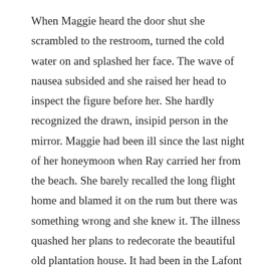When Maggie heard the door shut she scrambled to the restroom, turned the cold water on and splashed her face. The wave of nausea subsided and she raised her head to inspect the figure before her. She hardly recognized the drawn, insipid person in the mirror. Maggie had been ill since the last night of her honeymoon when Ray carried her from the beach. She barely recalled the long flight home and blamed it on the rum but there was something wrong and she knew it. The illness quashed her plans to redecorate the beautiful old plantation house. It had been in the Lafont family for close to two hundred years. There wasn't much Maggie wanted to change about the historical mansion, just a few personal touches to make it her own, their own. The home of Mr. and Mrs. Ray Lafont – Ray didn't care one way or the other.